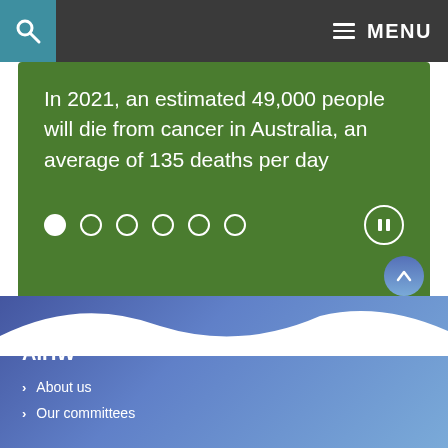MENU
In 2021, an estimated 49,000 people will die from cancer in Australia, an average of 135 deaths per day
More reports and statistics on cancer can be found under Cancer screening.
Last updated 12/07/2022 v5.0
AIHW
About us
Our committees